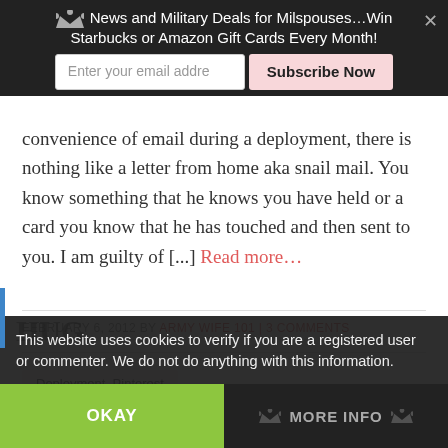News and Military Deals for Milspouses…Win Starbucks or Amazon Gift Cards Every Month!
convenience of email during a deployment, there is nothing like a letter from home aka snail mail. You know something that he knows you have held or a card you know that he has touched and then sent to you. I am guilty of [...] Read more…
FEBRUARY 6, 2012 BY ARMY WIFE 101 | 3 COMMENTS
Deployment, Pinterest
This website uses cookies to verify if you are a registered user or commenter. We do not do anything with this information.
HUG
OKAY
MORE INFO